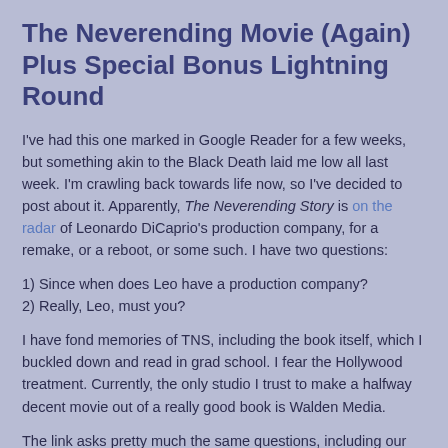The Neverending Movie (Again) Plus Special Bonus Lightning Round
I've had this one marked in Google Reader for a few weeks, but something akin to the Black Death laid me low all last week. I'm crawling back towards life now, so I've decided to post about it. Apparently, The Neverending Story is on the radar of Leonardo DiCaprio's production company, for a remake, or a reboot, or some such. I have two questions:
1) Since when does Leo have a production company?
2) Really, Leo, must you?
I have fond memories of TNS, including the book itself, which I buckled down and read in grad school. I fear the Hollywood treatment. Currently, the only studio I trust to make a halfway decent movie out of a really good book is Walden Media.
The link asks pretty much the same questions, including our Special Bonus Lightning Round: what book should be made